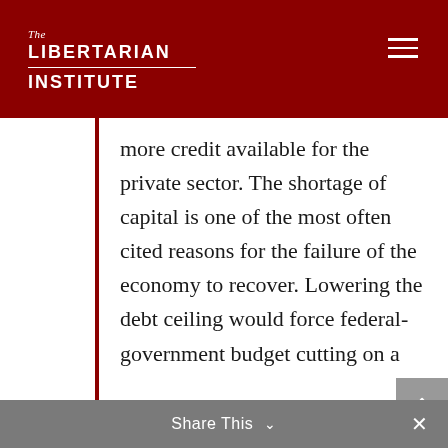The Libertarian Institute
more credit available for the private sector. The shortage of capital is one of the most often cited reasons for the failure of the economy to recover. Lowering the debt ceiling would force federal-government budget cutting on a large scale, and this would free up resources (labor, land, and capital) and force a cutback in the federal government’s regulatory apparatus. This would put Americans back to work producing consumer-valued goods.
Share This